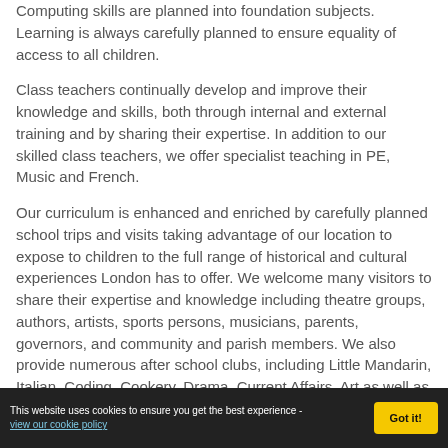Computing skills are planned into foundation subjects. Learning is always carefully planned to ensure equality of access to all children.
Class teachers continually develop and improve their knowledge and skills, both through internal and external training and by sharing their expertise. In addition to our skilled class teachers, we offer specialist teaching in PE, Music and French.
Our curriculum is enhanced and enriched by carefully planned school trips and visits taking advantage of our location to expose to children to the full range of historical and cultural experiences London has to offer. We welcome many visitors to share their expertise and knowledge including theatre groups, authors, artists, sports persons, musicians, parents, governors, and community and parish members. We also provide numerous after school clubs, including Little Mandarin, Italian, Coding, Cookery, Drama, Current Affairs, Art as well as many sporting clubs.
Choosing Curren...
This website uses cookies to ensure you get the best experience - view our cookie policy  Got it!